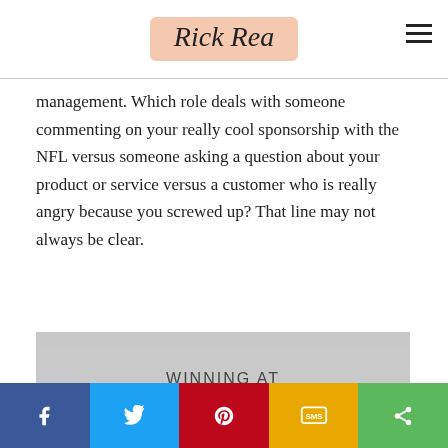Rick Rea
management. Which role deals with someone commenting on your really cool sponsorship with the NFL versus someone asking a question about your product or service versus a customer who is really angry because you screwed up? That line may not always be clear.
[Figure (infographic): Infographic with gray background showing the text 'WINNING AT SOCIAL CUSTOMER CARE' in large bold dark blue uppercase letters]
Social share bar with Facebook, Twitter, Pinterest, SMS, and share buttons